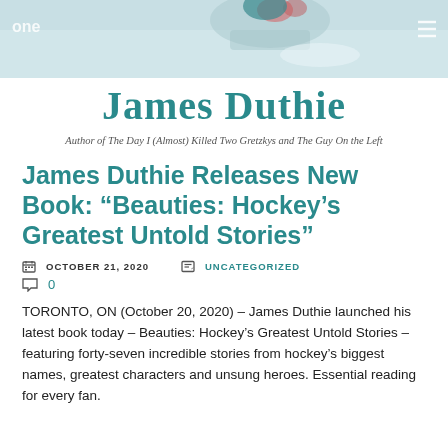[Figure (photo): Header banner image with ice skating / hockey theme in light blue-grey tones, with 'one' logo text visible at top left and menu icon at top right]
James Duthie
Author of The Day I (Almost) Killed Two Gretzkys and The Guy On the Left
James Duthie Releases New Book: “Beauties: Hockey’s Greatest Untold Stories”
OCTOBER 21, 2020   UNCATEGORIZED
0
TORONTO, ON (October 20, 2020) – James Duthie launched his latest book today – Beauties: Hockey’s Greatest Untold Stories – featuring forty-seven incredible stories from hockey’s biggest names, greatest characters and unsung heroes. Essential reading for every fan.